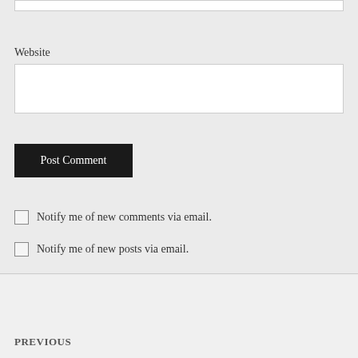Website
Post Comment
Notify me of new comments via email.
Notify me of new posts via email.
PREVIOUS